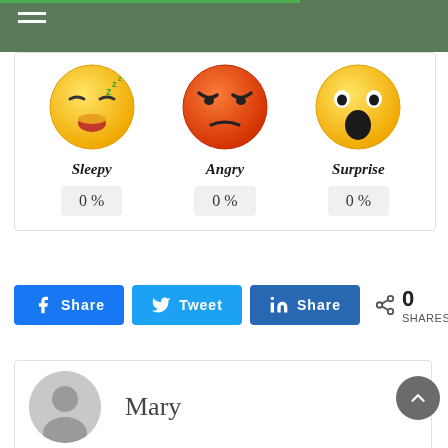Navigation menu header bar
[Figure (illustration): Three emoji faces: Sleepy (yellow face with closed eyes and Zzz), Angry (red-orange face with furrowed brows), Surprise (yellow face with wide open mouth and eyes)]
Sleepy   0 %
Angry   0 %
Surprise   0 %
k Share   t Tweet   in Share   0 SHARES
Mary